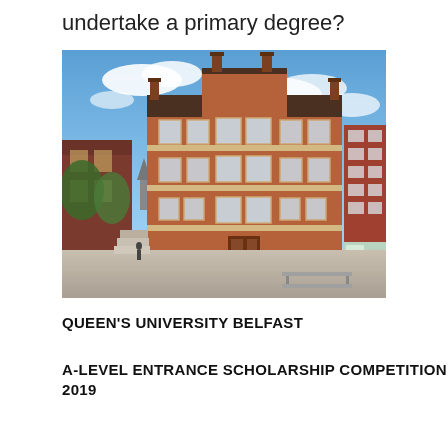undertake a primary degree?
[Figure (photo): Photograph of a Victorian red-brick university building (Queen's University Belfast) with a central tower, three stories of large windows, and a paved courtyard in front under a partly cloudy blue sky. A modern brick building is visible to the right.]
QUEEN'S UNIVERSITY BELFAST
A-LEVEL ENTRANCE SCHOLARSHIP COMPETITION 2019